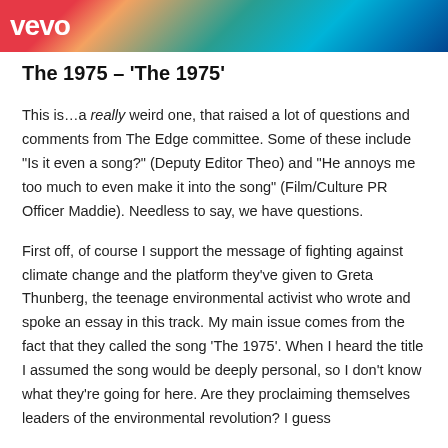[Figure (photo): Vevo banner image with colorful abstract background (red, teal, blue) and white Vevo logo text on the left]
The 1975 – ‘The 1975’
This is…a really weird one, that raised a lot of questions and comments from The Edge committee. Some of these include “Is it even a song?” (Deputy Editor Theo) and “He annoys me too much to even make it into the song” (Film/Culture PR Officer Maddie). Needless to say, we have questions.
First off, of course I support the message of fighting against climate change and the platform they’ve given to Greta Thunberg, the teenage environmental activist who wrote and spoke an essay in this track. My main issue comes from the fact that they called the song ‘The 1975’. When I heard the title I assumed the song would be deeply personal, so I don’t know what they’re going for here. Are they proclaiming themselves leaders of the environmental revolution? I guess